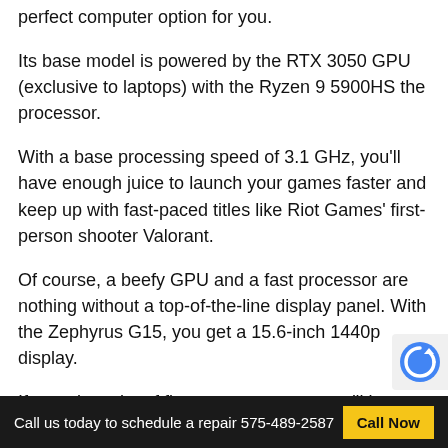perfect computer option for you.
Its base model is powered by the RTX 3050 GPU (exclusive to laptops) with the Ryzen 9 5900HS the processor.
With a base processing speed of 3.1 GHz, you'll have enough juice to launch your games faster and keep up with fast-paced titles like Riot Games' first-person shooter Valorant.
Of course, a beefy GPU and a fast processor are nothing without a top-of-the-line display panel. With the Zephyrus G15, you get a 15.6-inch 1440p display.
If you play a lot of first-person games, you'll be satisfied with the display's 165Hz refresh rate and 3ms response time.
Call us today to schedule a repair 575-489-2587  Call Now